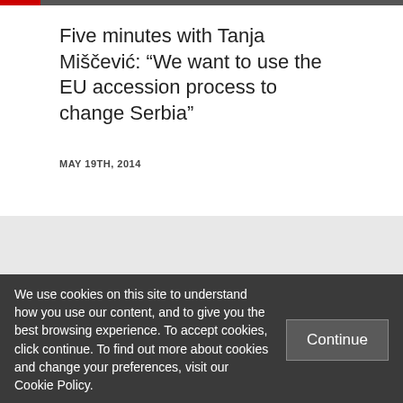Five minutes with Tanja Miščević: “We want to use the EU accession process to change Serbia”
MAY 19TH, 2014
We use cookies on this site to understand how you use our content, and to give you the best browsing experience. To accept cookies, click continue. To find out more about cookies and change your preferences, visit our Cookie Policy.